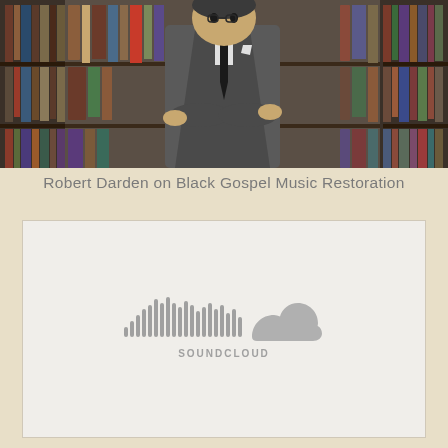[Figure (photo): A man in a grey suit with arms crossed standing in front of library shelves filled with record albums and binders]
Robert Darden on Black Gospel Music Restoration
[Figure (logo): SoundCloud logo — waveform bars with cloud shape and SOUNDCLOUD text below, rendered in grey]